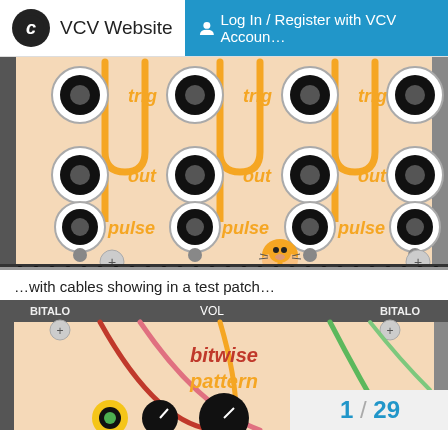VCV Website  Log In / Register with VCV Account
[Figure (screenshot): VCV Rack module screenshot showing trig, out, and pulse ports with orange cables connecting them, and a hamster icon at the bottom center]
…with cables showing in a test patch…
[Figure (screenshot): VCV Rack patch screenshot showing 'bitwise pattern' module with colorful cables (red, pink, green, orange) and a page number overlay showing 1/29]